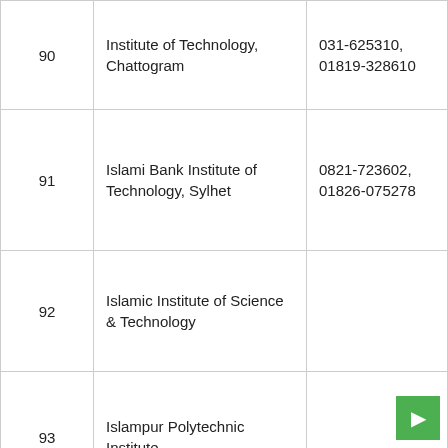| # | Institution Name | Contact |
| --- | --- | --- |
| 90 | Institute of Technology, Chattogram | 031-625310, 01819-328610 |
| 91 | Islami Bank Institute of Technology, Sylhet | 0821-723602, 01826-075278 |
| 92 | Islamic Institute of Science & Technology |  |
| 93 | Islampur Polytechnic Institute |  |
| 94 | Jahanara Quddus Engineering Institute | 0852847312, 01732-508677 |